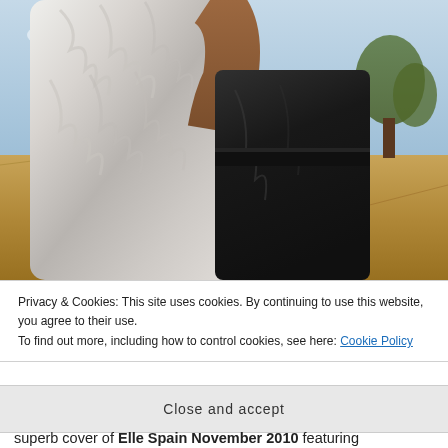[Figure (photo): Fashion photograph of a person wearing a large white/grey fur coat and black leather outfit, standing in an outdoor field setting with dry grass and trees in the background, blue sky visible.]
Privacy & Cookies: This site uses cookies. By continuing to use this website, you agree to their use.
To find out more, including how to control cookies, see here: Cookie Policy
Close and accept
superb cover of Elle Spain November 2010 featuring